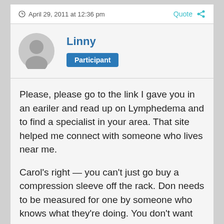April 29, 2011 at 12:36 pm
Quote
Linny
Participant
Please, please go to the link I gave you in an eariler and read up on Lymphedema and to find a specialist in your area. That site helped me connect with someone who lives near me.
Carol's right — you can't just go buy a compression sleeve off the rack. Don needs to be measured for one by someone who knows what they're doing. You don't want one that's too loose because it'll be ineffective and one that's too tight will be a problem too.